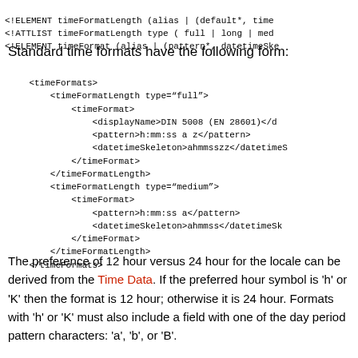<!ELEMENT timeFormatLength (alias | (default*, time...
<!ATTLIST timeFormatLength type ( full | long | med...
<!ELEMENT timeFormat (alias | (pattern*, datetimeSke...
Standard time formats have the following form:
<timeFormats>
    <timeFormatLength type="full">
        <timeFormat>
            <displayName>DIN 5008 (EN 28601)</d...
            <pattern>h:mm:ss a z</pattern>
            <datetimeSkeleton>ahmmssze</datetimes...
        </timeFormat>
    </timeFormatLength>
    <timeFormatLength type="medium">
        <timeFormat>
            <pattern>h:mm:ss a</pattern>
            <datetimeSkeleton>ahmmss</datetimeSk...
        </timeFormat>
    </timeFormatLength>
</timeFormats>
The preference of 12 hour versus 24 hour for the locale can be derived from the Time Data. If the preferred hour symbol is 'h' or 'K' then the format is 12 hour; otherwise it is 24 hour. Formats with 'h' or 'K' must also include a field with one of the day period pattern characters: 'a', 'b', or 'B'.